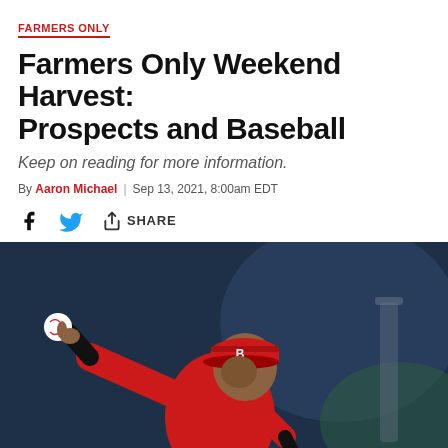FARMERS ONLY
Farmers Only Weekend Harvest: Prospects and Baseball
Keep on reading for more information.
By Aaron Michael | Sep 13, 2021, 8:00am EDT
[Figure (photo): Baseball pitcher in red uniform and red cap with 'B' logo, throwing a ball, photographed against a blurred blue-green background.]